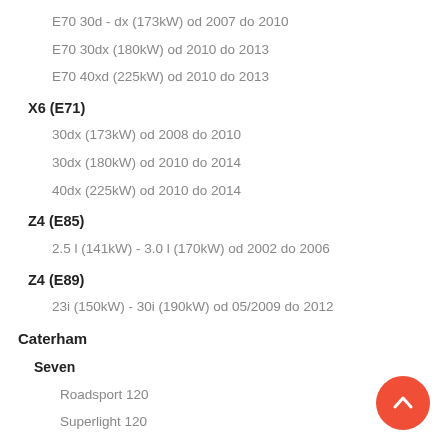E70 30d - dx (173kW) od 2007 do 2010
E70 30dx (180kW) od 2010 do 2013
E70 40xd (225kW) od 2010 do 2013
X6 (E71)
30dx (173kW) od 2008 do 2010
30dx (180kW) od 2010 do 2014
40dx (225kW) od 2010 do 2014
Z4 (E85)
2.5 l (141kW) - 3.0 l (170kW) od 2002 do 2006
Z4 (E89)
23i (150kW) - 30i (190kW) od 05/2009 do 2012
Caterham
Seven
Roadsport 120
Superlight 120
Chevrolet